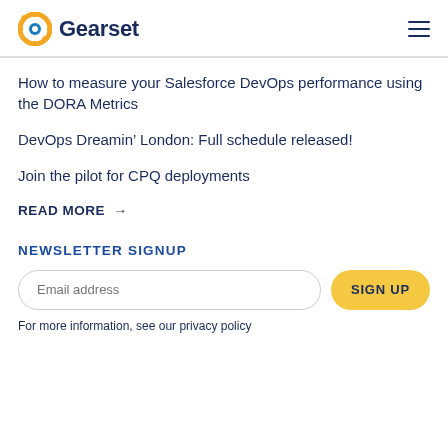Gearset
How to measure your Salesforce DevOps performance using the DORA Metrics
DevOps Dreamin’ London: Full schedule released!
Join the pilot for CPQ deployments
READ MORE →
NEWSLETTER SIGNUP
For more information, see our privacy policy